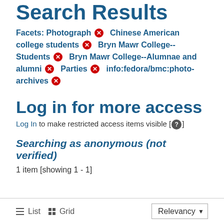Search Results
Facets: Photograph ✕   Chinese American college students ✕   Bryn Mawr College--Students ✕   Bryn Mawr College--Alumnae and alumni ✕   Parties ✕   info:fedora/bmc:photo-archives ✕
Log in for more access
Log In to make restricted access items visible [ ? ]
Searching as anonymous (not verified)
1 item [showing 1 - 1]
≡ List   ⊞ Grid   Relevancy ▼